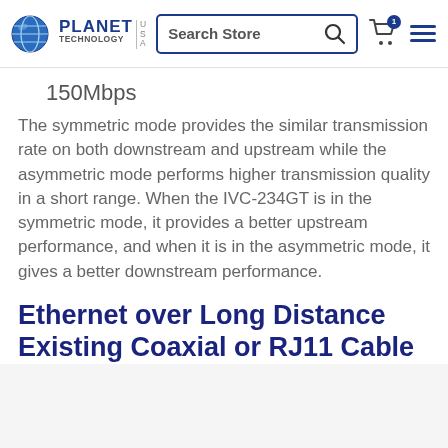Planet Technology USA — Search Store navigation bar
150Mbps
The symmetric mode provides the similar transmission rate on both downstream and upstream while the asymmetric mode performs higher transmission quality in a short range. When the IVC-234GT is in the symmetric mode, it provides a better upstream performance, and when it is in the asymmetric mode, it gives a better downstream performance.
Ethernet over Long Distance Existing Coaxial or RJ11 Cable